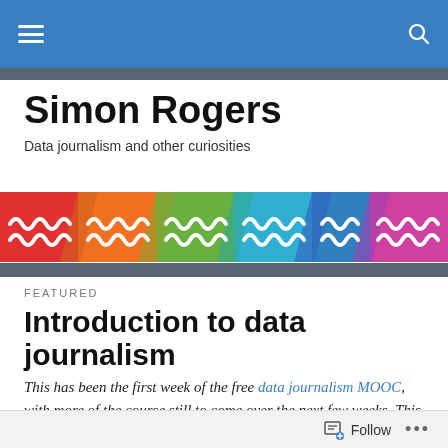Simon Rogers — Data journalism and other curiosities
[Figure (illustration): Colorful banner with diagonal zigzag patterns in red, orange, green, blue, and pink/magenta]
FEATURED
Introduction to data journalism
This has been the first week of the free data journalism MOOC, with more of the course still to come over the next few weeks. This is the text of the first part of my module.
Follow